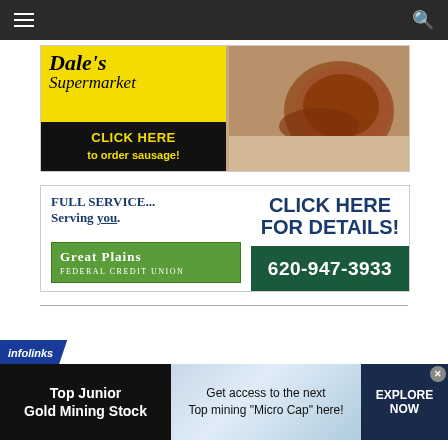[Figure (screenshot): Top navigation bar with hamburger menu icon and search icon on dark background]
[Figure (illustration): Dale's Supermarket advertisement with yellow and black branding, 'CLICK HERE to order sausage!' text, and image of sausage links. Text: You've tried the rest... Now try the best!]
[Figure (illustration): Great Plains Federal Credit Union advertisement. Text: FULL SERVICE... Serving you. CLICK HERE FOR DETAILS! 620-947-3933]
[Figure (screenshot): Infolinks advertisement banner for Top Junior Gold Mining Stock. Text: Get access to the next Top mining 'Micro Cap' here! EXPLORE NOW]